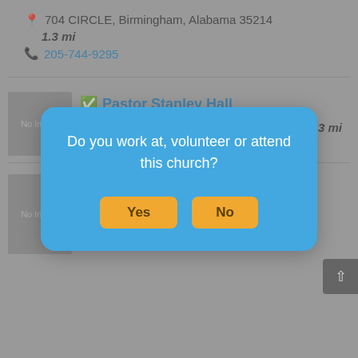704 CIRCLE, Birmingham, Alabama 35214  1.3 mi
205-744-9295
Pastor Stanley Hall
[Figure (screenshot): Modal dialog overlay with blue background asking 'Do you work at, volunteer or attend this church?' with Yes and No buttons in yellow/orange]
PRATT HIGHWAY CHURCH OF GOD
Church of God
211 CRUMLY CHAPEL ROAD, Birmingham, Alabama 35214  1.7 mi